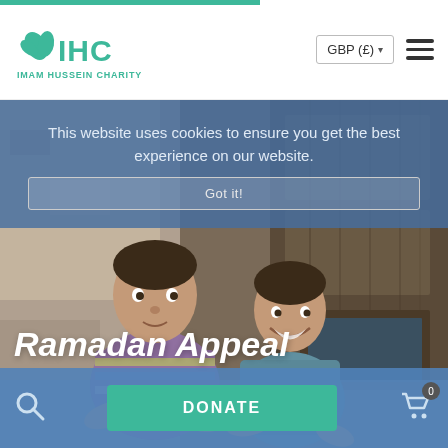[Figure (logo): IHC – Imam Hussein Charity logo with teal leaf/hand icon]
GBP (£) ▾
[Figure (photo): Two smiling boys sitting in front of a weathered wooden door]
This website uses cookies to ensure you get the best experience on our website.
Got it!
Ramadan Appeal
DONATE